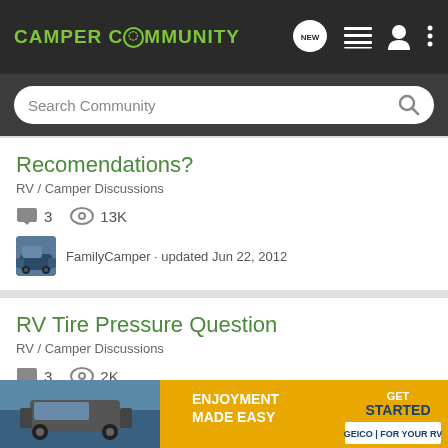CAMPER COMMUNITY
Search Community
Recomendations?
RV / Camper Discussions
3  13K
FamilyCamper · updated Jun 22, 2012
RV Tire Pressure Question
RV / Camper Discussions
3  2K
mikey · updated Mar 4, 2008
Duro T
RV / C
[Figure (screenshot): GEICO advertisement banner: ENJOYMENT MADE EASY / GET STARTED / GEICO FOR YOUR RV]